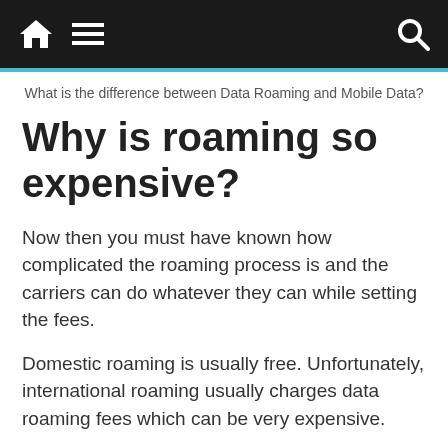Navigation bar with home, menu, and search icons
What is the difference between Data Roaming and Mobile Data?
Why is roaming so expensive?
Now then you must have known how complicated the roaming process is and the carriers can do whatever they can while setting the fees.
Domestic roaming is usually free. Unfortunately, international roaming usually charges data roaming fees which can be very expensive.
You can trigger data roaming fees in a number of ways: by sending or receiving text call (SMS)